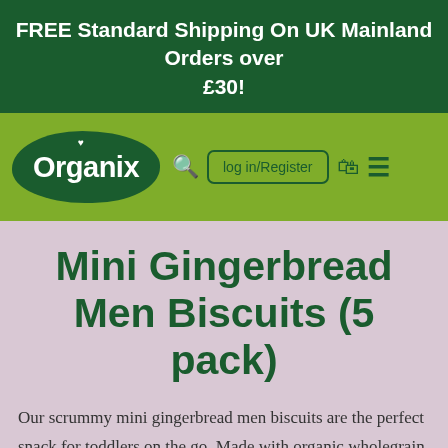FREE Standard Shipping On UK Mainland Orders over £30!
[Figure (logo): Organix brand logo: white text 'Organix' with a small heart accent inside a dark green organic blob shape, on an olive green navbar with search icon, Log in/Register button, bag icon, and hamburger menu]
Mini Gingerbread Men Biscuits (5 pack)
Our scrummy mini gingerbread men biscuits are the perfect snack for toddlers on the go. Made with organic wholegrain